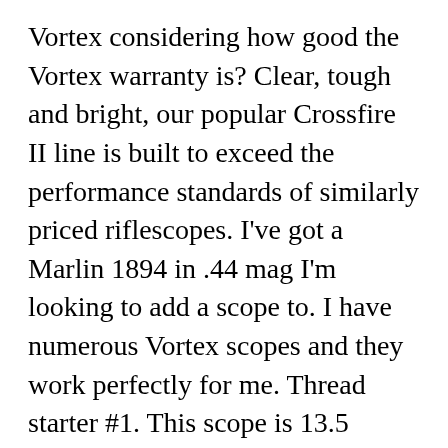Vortex considering how good the Vortex warranty is? Clear, tough and bright, our popular Crossfire II line is built to exceed the performance standards of similarly priced riflescopes. I've got a Marlin 1894 in .44 mag I'm looking to add a scope to. I have numerous Vortex scopes and they work perfectly for me. Thread starter #1. This scope is 13.5 inches in length and weighs only 19.6 ounces. The sheer variety of options can be overwhelming. JavaScript seems to be disabled in your browser. Viper riflescopes are rugged performers that hunters have come to rely on. The housing integrated O-rings with multi-coated optics to assure a waterproof, scratch free, and anti-fogging performance, completely...